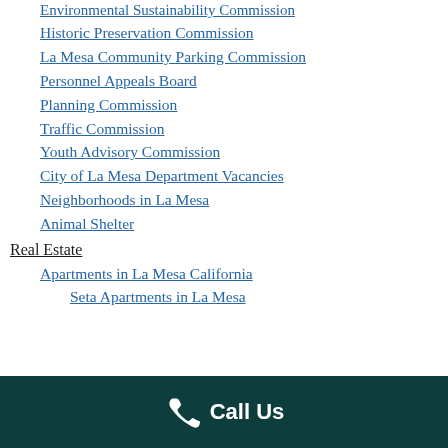Environmental Sustainability Commission
Historic Preservation Commission
La Mesa Community Parking Commission
Personnel Appeals Board
Planning Commission
Traffic Commission
Youth Advisory Commission
City of La Mesa Department Vacancies
Neighborhoods in La Mesa
Animal Shelter
Real Estate
Apartments in La Mesa California
Seta Apartments in La Mesa
Call Us